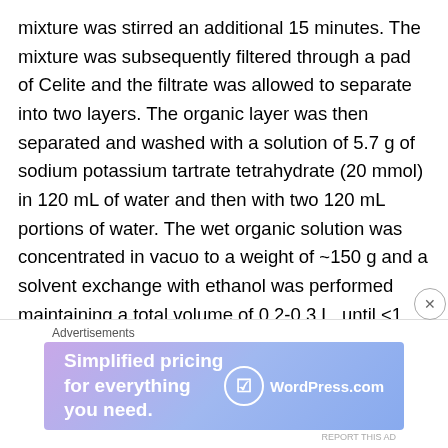mixture was stirred an additional 15 minutes. The mixture was subsequently filtered through a pad of Celite and the filtrate was allowed to separate into two layers. The organic layer was then separated and washed with a solution of 5.7 g of sodium potassium tartrate tetrahydrate (20 mmol) in 120 mL of water and then with two 120 mL portions of water. The wet organic solution was concentrated in vacuo to a weight of ~150 g and a solvent exchange with ethanol was performed maintaining a total volume of 0.2-0.3 L, until <1 mol. % toluene with respect to ethanol was observed by ¹H NMR. The solution was then evaporated at elevated temperature to a weight of 223
[Figure (other): WordPress.com advertisement banner: 'Simplified pricing for everything you need.' with WordPress.com logo]